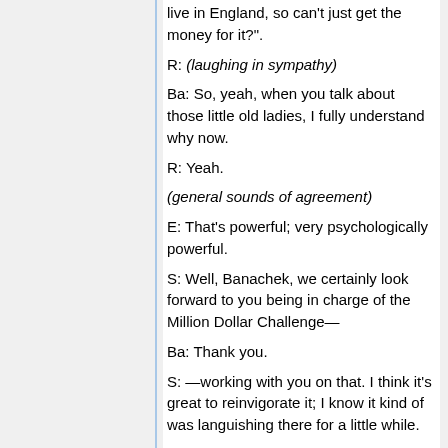live in England, so can't just get the money for it?".
R: (laughing in sympathy)
Ba: So, yeah, when you talk about those little old ladies, I fully understand why now.
R: Yeah.
(general sounds of agreement)
E: That's powerful; very psychologically powerful.
S: Well, Banachek, we certainly look forward to you being in charge of the Million Dollar Challenge—
Ba: Thank you.
S: —working with you on that. I think it's great to reinvigorate it; I know it kind of was languishing there for a little while.
Ba: Well, I still feel like it's a little